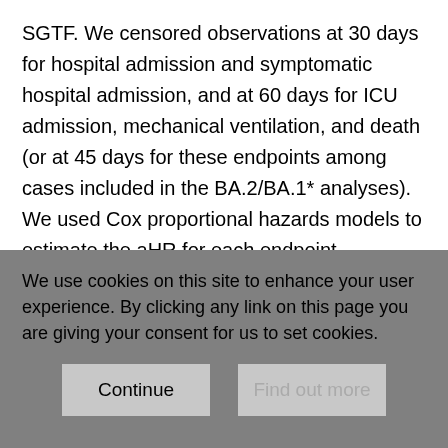SGTF. We censored observations at 30 days for hospital admission and symptomatic hospital admission, and at 60 days for ICU admission, mechanical ventilation, and death (or at 45 days for these endpoints among cases included in the BA.2/BA.1* analyses). We used Cox proportional hazards models to estimate the aHR for each endpoint associated with SGTF, adjusting for all available demographic and clinical covariates according to the definitions provided above. We defined strata for cases' testing date to account for potential secular changes in testing and healthcare practices over the study period, noting that testing dates were jittered at random by 0, +1, or −1 days to preserve anonymity of protected health information; lengths of time to
We use cookies on this site to enhance your user experience. By clicking any link on this page you are giving your consent for us to set cookies.